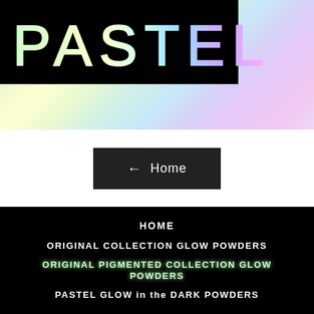[Figure (logo): PASTEL logo in holographic/rainbow gradient text on black background, with pastel rainbow gradient background below]
← Home
HOME
ORIGINAL COLLECTION GLOW POWDERS
ORIGINAL PIGMENTED COLLECTION GLOW POWDERS
PASTEL GLOW in the DARK POWDERS